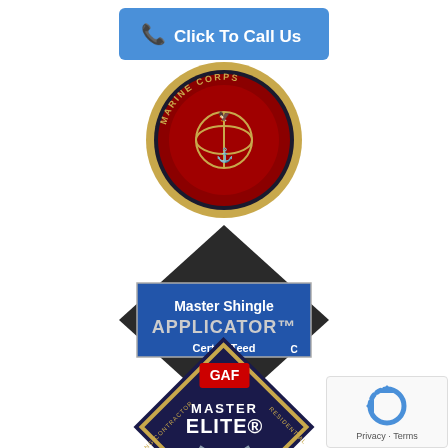[Figure (other): Blue button with phone icon and text 'Click To Call Us']
[Figure (logo): United States Marine Corps circular emblem/logo with eagle globe and anchor, text 'Marine Corps' around the border]
[Figure (logo): CertainTeed Master Shingle Applicator badge - black diamond shape with blue rectangle in center showing 'Master Shingle APPLICATOR' text and CertainTeed logo]
[Figure (logo): GAF Master Elite Residential Roofing Contractor diamond-shaped badge in navy blue and gold with GAF red logo at top]
[Figure (logo): reCAPTCHA widget showing circular arrows logo with Privacy and Terms text]